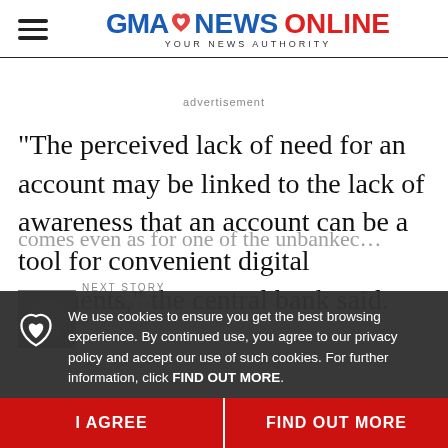GMA NEWS ONLINE — YOUR NEWS AUTHORITY
advertisement
"The perceived lack of need for an account may be linked to the lack of awareness that an account can be a tool for convenient digital payments," the central bank said.
We use cookies to ensure you get the best browsing experience. By continued use, you agree to our privacy policy and accept our use of such cookies. For further information, click FIND OUT MORE.
I AGREE
FIND OUT MORE